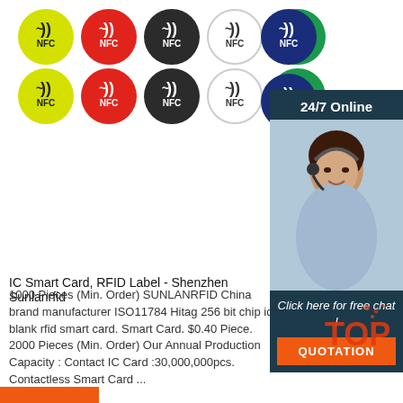[Figure (illustration): Two rows of NFC-logo circles in various colors: yellow, red, dark/black, white, green, navy blue. Each circle shows the NFC wireless symbol and 'NFC' text.]
[Figure (infographic): Sidebar overlay showing '24/7 Online' header, photo of a customer service woman with headset, 'Click here for free chat!' text, and an orange QUOTATION button.]
IC Smart Card, RFID Label - Shenzhen Sunlanrfid
1000 Pieces (Min. Order) SUNLANRFID China brand manufacturer ISO11784 Hitag 256 bit chip id blank rfid smart card. Smart Card. $0.40 Piece. 2000 Pieces (Min. Order) Our Annual Production Capacity : Contact IC Card :30,000,000pcs. Contactless Smart Card ...
[Figure (infographic): Red and orange 'TOP' badge with dots, partially overlapping the text area at bottom right.]
[Figure (other): Orange/red bar at the very bottom left of the page.]